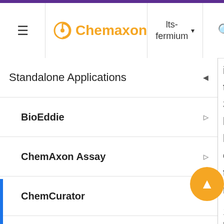Chemaxon | lts-fermium
Standalone Applications
BioEddie
ChemAxon Assay
ChemCurator
Compliance Checker
Compound Registration
Quick Start Guide
Compound Registration User's G...
Overview
into the 3-level hierarc of the regist
1. F
-
T
m
(